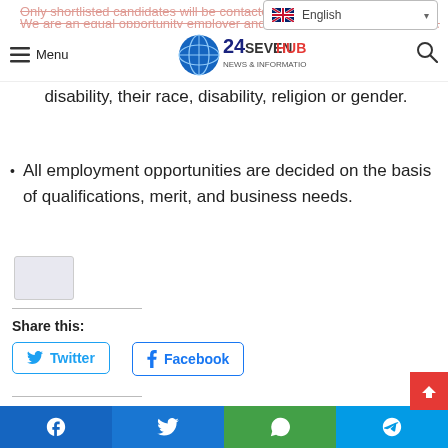24SEVENHUB - Menu navigation bar with logo and search
Only shortlisted candidates will be contacted.
We are an equal opportunity employer and value diversity. We, therefore, do not discriminate against applicants on the basis of, among others: their race, disability, their race, disability, religion or gender.
All employment opportunities are decided on the basis of qualifications, merit, and business needs.
Share this:
Twitter  Facebook
Like this:
Facebook  Twitter  WhatsApp  Telegram